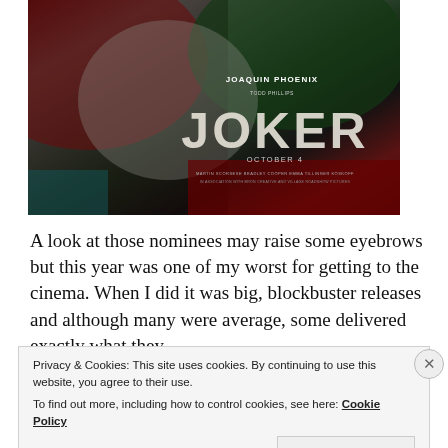[Figure (photo): Movie poster for JOKER (2019) starring Joaquin Phoenix. Dark background with red and green tones showing the Joker's face/costume. Text reads: JOAQUIN PHOENIX, JOKER, OCTOBER 4.]
A look at those nominees may raise some eyebrows but this year was one of my worst for getting to the cinema. When I did it was big, blockbuster releases and although many were average, some delivered exactly what they
Privacy & Cookies: This site uses cookies. By continuing to use this website, you agree to their use. To find out more, including how to control cookies, see here: Cookie Policy
Close and accept